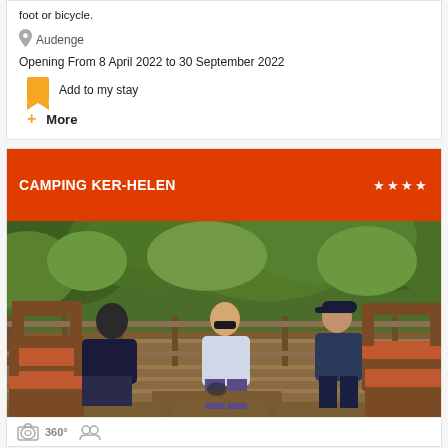foot or bicycle.
Audenge
Opening From 8 April 2022 to 30 September 2022
Add to my stay
More
CAMPING KER-HELEN ★★★★
[Figure (photo): Three people sitting in wooden outdoor furniture with orange cushions on a terrace, surrounded by lush green tropical vegetation in the background.]
360°